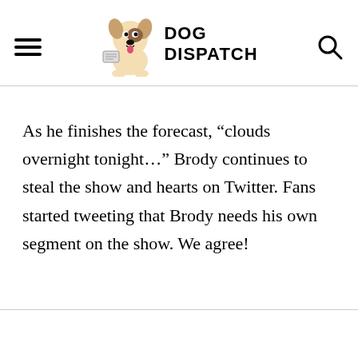DOG DISPATCH
As he finishes the forecast, “clouds overnight tonight…” Brody continues to steal the show and hearts on Twitter. Fans started tweeting that Brody needs his own segment on the show. We agree!